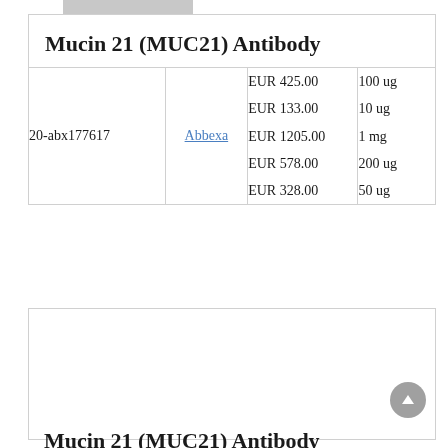| ID | Supplier | Price | Size |
| --- | --- | --- | --- |
| 20-abx177617 | Abbexa | EUR 425.00
EUR 133.00
EUR 1205.00
EUR 578.00
EUR 328.00 | 100 ug
10 ug
1 mg
200 ug
50 ug |
[Figure (photo): Thumbnail image placeholder for Mucin 21 (MUC21) Antibody product]
Mucin 21 (MUC21) Antibody